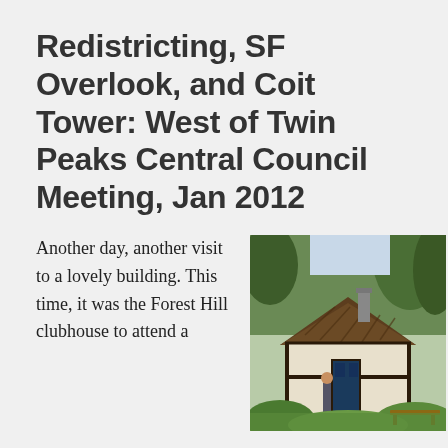Redistricting, SF Overlook, and Coit Tower: West of Twin Peaks Central Council Meeting, Jan 2012
Another day, another visit to a lovely building. This time, it was the Forest Hill clubhouse to attend a meeting of the West of Twin Peaks Central
[Figure (photo): Photo of a Tudor-style clubhouse building with a thatched roof, surrounded by lush green trees and garden plants. A person stands near the entrance door. A wooden bench is visible in the foreground.]